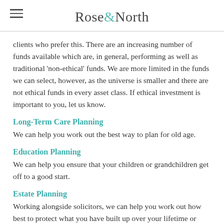Rose&North
clients who prefer this. There are an increasing number of funds available which are, in general, performing as well as traditional 'non-ethical' funds. We are more limited in the funds we can select, however, as the universe is smaller and there are not ethical funds in every asset class. If ethical investment is important to you, let us know.
Long-Term Care Planning
We can help you work out the best way to plan for old age.
Education Planning
We can help you ensure that your children or grandchildren get off to a good start.
Estate Planning
Working alongside solicitors, we can help you work out how best to protect what you have built up over your lifetime or